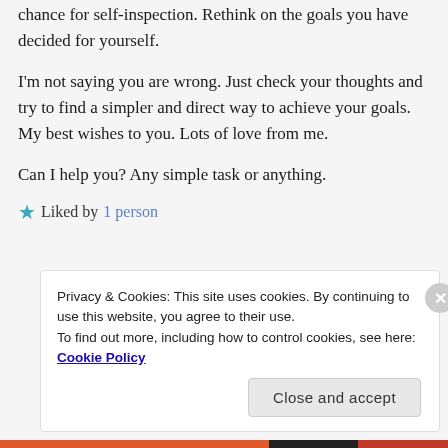chance for self-inspection. Rethink on the goals you have decided for yourself.
I'm not saying you are wrong. Just check your thoughts and try to find a simpler and direct way to achieve your goals. My best wishes to you. Lots of love from me.
Can I help you? Any simple task or anything.
★ Liked by 1 person
Privacy & Cookies: This site uses cookies. By continuing to use this website, you agree to their use.
To find out more, including how to control cookies, see here: Cookie Policy
Close and accept